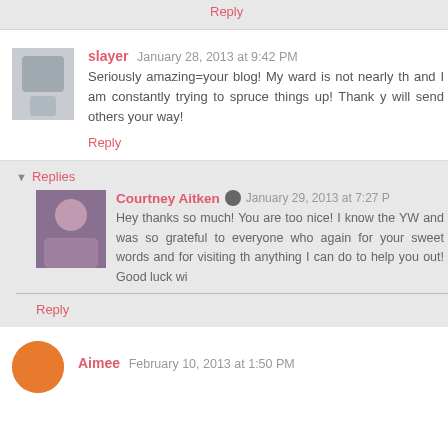Reply
slayer January 28, 2013 at 9:42 PM
Seriously amazing=your blog! My ward is not nearly th... and I am constantly trying to spruce things up! Thank y... will send others your way!
Reply
Replies
Courtney Aitken January 29, 2013 at 7:27 P...
Hey thanks so much! You are too nice! I know... the YW and was so grateful to everyone who... again for your sweet words and for visiting th... anything I can do to help you out! Good luck wi...
Reply
Aimee February 10, 2013 at 1:50 PM